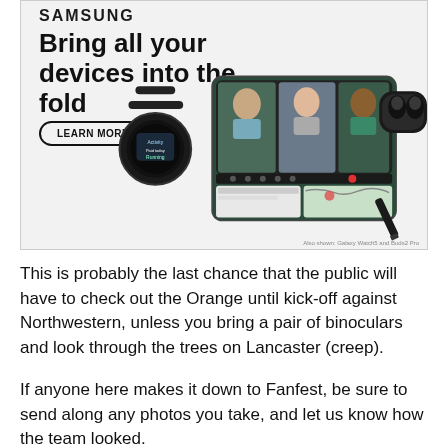[Figure (illustration): Samsung advertisement showing Galaxy Watch5, Galaxy Z Fold phone with video call on screen, and Galaxy Buds earbuds case with stylus pen. Headline reads 'Bring all your devices into the fold' with a LEARN MORE button and Samsung logo at top.]
This is probably the last chance that the public will have to check out the Orange until kick-off against Northwestern, unless you bring a pair of binoculars and look through the trees on Lancaster (creep).
If anyone here makes it down to Fanfest, be sure to send along any photos you take, and let us know how the team looked.